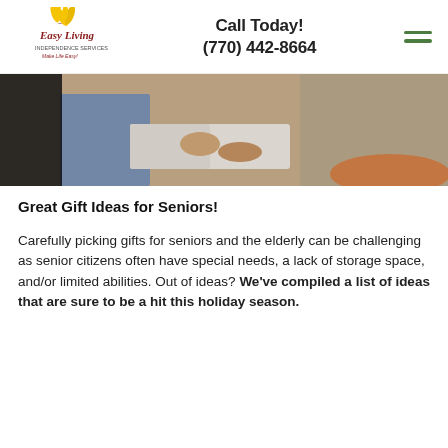Easy Living — Call Today! (770) 442-8664
[Figure (photo): Two people sitting together looking at a book or magazine — an elderly person in a beige shirt and a younger person in a blue shirt]
Great Gift Ideas for Seniors!
Carefully picking gifts for seniors and the elderly can be challenging as senior citizens often have special needs, a lack of storage space, and/or limited abilities. Out of ideas? We've compiled a list of ideas that are sure to be a hit this holiday season.